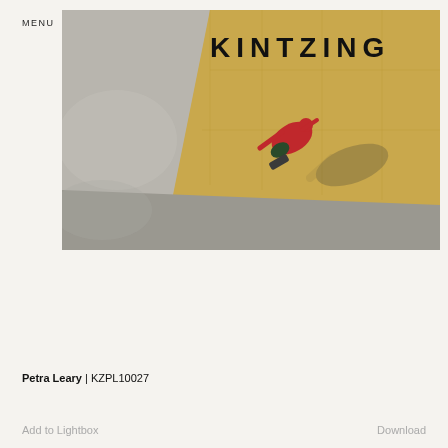MENU
KINTZING
[Figure (photo): Aerial/top-down photograph of a skateboarder in a red outfit on a concrete skate park with grey and yellow/tan sections, casting a shadow. Brand name KINTZING overlaid at top.]
Petra Leary | KZPL10027
Add to Lightbox
Download